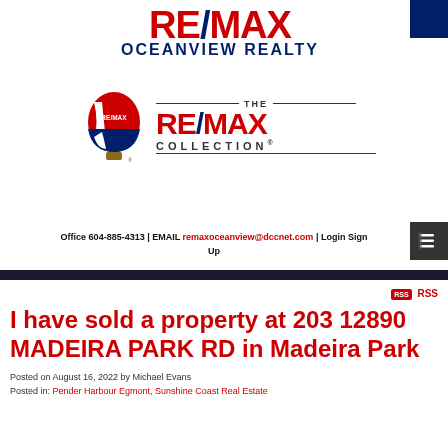[Figure (logo): RE/MAX Oceanview Realty logo with red RE/MAX text and blue OCEANVIEW REALTY text]
[Figure (logo): RE/MAX Collection logo with hot air balloon and THE RE/MAX COLLECTION text]
Office 604-885-4313 | EMAIL remaxoceanview@dccnet.com | Login Sign Up
I have sold a property at 203 12890 MADEIRA PARK RD in Madeira Park
Posted on August 16, 2022 by Michael Evans
Posted in: Pender Harbour Egmont, Sunshine Coast Real Estate